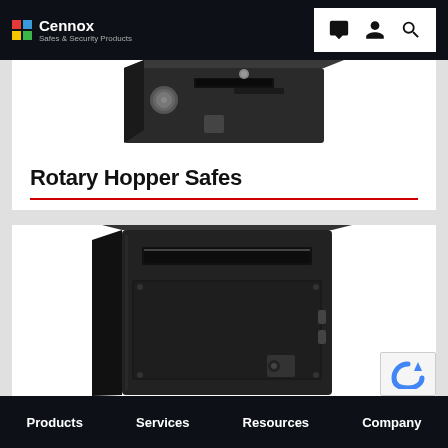Cennox Safes & Security Products
[Figure (photo): Rotary hopper safe photographed from an angle, dark metallic finish, visible slot and dial, partially cropped at top]
Rotary Hopper Safes
[Figure (photo): Large upright deposit safe with front-facing slot opening, dark metallic finish, keypad lock visible at bottom, photographed at slight angle]
Products   Services   Resources   Company